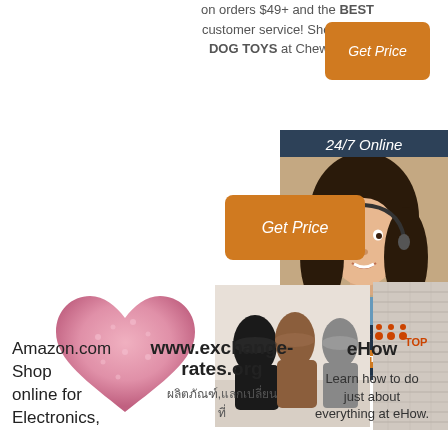on orders $49+ and the BEST customer service! Shop for all DOG TOYS at Chewy.com.
[Figure (other): Orange 'Get Price' button (top right)]
[Figure (other): 24/7 Online chat panel with customer service agent photo, 'Click here for free chat!' text, and orange QUOTATION button]
[Figure (other): Orange 'Get Price' button (center)]
[Figure (photo): Pink fluffy heart-shaped pillow/cushion]
[Figure (photo): Collection of sheepskin/fur boots and shoes on a surface]
[Figure (photo): Fabric/textile material sample]
Amazon.com Shop online for Electronics,
www.exchange-rates.org
eHow Learn how to do just about everything at eHow.